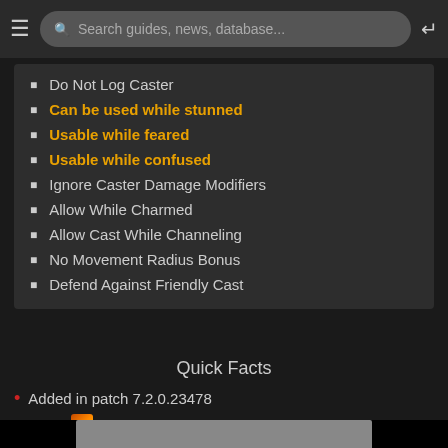Search guides, news, database...
Do Not Log Caster
Can be used while stunned
Usable while feared
Usable while confused
Ignore Caster Damage Modifiers
Allow While Charmed
Allow Cast While Channeling
No Movement Radius Bonus
Defend Against Friendly Cast
Quick Facts
Added in patch 7.2.0.23478
Icon: spell_mage_unstablemagic
WeakAuras Export